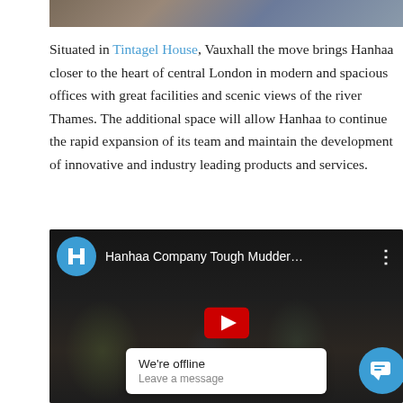[Figure (photo): Partial view of a photo at the top of the page, showing a room with people]
Situated in Tintagel House, Vauxhall the move brings Hanhaa closer to the heart of central London in modern and spacious offices with great facilities and scenic views of the river Thames. The additional space will allow Hanhaa to continue the rapid expansion of its team and maintain the development of innovative and industry leading products and services.
[Figure (screenshot): YouTube video thumbnail showing Hanhaa Company Tough Mudder video with a chat overlay showing 'We're offline / Leave a message' and a blue chat button]